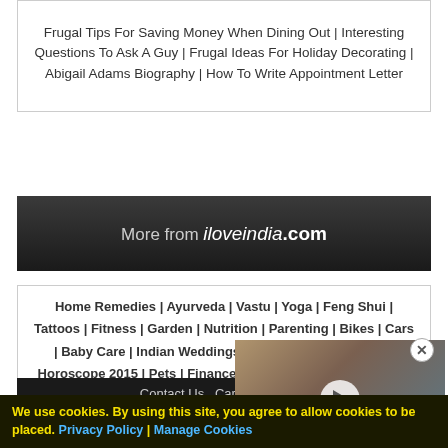Frugal Tips For Saving Money When Dining Out | Interesting Questions To Ask A Guy | Frugal Ideas For Holiday Decorating | Abigail Adams Biography | How To Write Appointment Letter
More from iloveindia.com
Home Remedies | Ayurveda | Vastu | Yoga | Feng Shui | Tattoos | Fitness | Garden | Nutrition | Parenting | Bikes | Cars | Baby Care | Indian Weddings | Festivals | Party ideas | Horoscope 2015 | Pets | Finance | Figures of Speech | Hotels in India : Delhi | Hyderabad | Chennai | Mu... | Ahmedabad
Contact Us Careers Disc... Advertise With Us | Lifest...
We use cookies. By using this site, you agree to allow cookies to be placed. Privacy Policy | Manage Cookies
[Figure (screenshot): Video overlay showing a person with glasses, a play button, and a mojo logo]